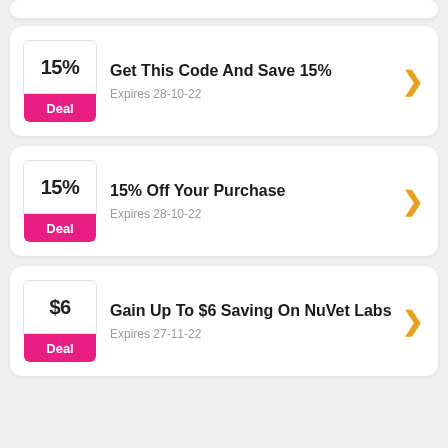Get This Code And Save 15% — Expires 28-10-22
15% Off Your Purchase — Expires 28-10-22
Gain Up To $6 Saving On NuVet Labs — Expires 27-11-22